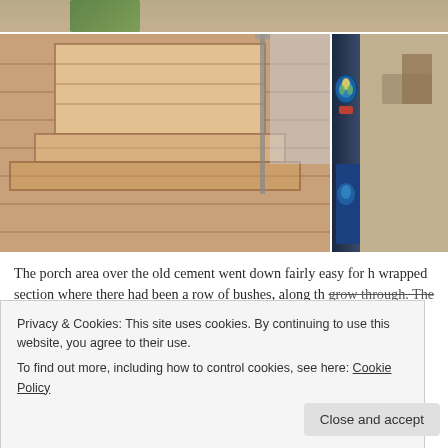[Figure (photo): Two photos side by side: left photo shows a wooden cedar deck with stairs and a railing; right photo shows a decorative post/pillar with blue art decoration and outdoor furniture in background. A top strip shows a partial image above.]
The porch area over the old cement went down fairly easy for h... wrapped section where there had been a row of bushes, along th... grow through. The ground was rough and uneven and he wante...
Privacy & Cookies: This site uses cookies. By continuing to use this website, you agree to their use.
To find out more, including how to control cookies, see here: Cookie Policy
Close and accept